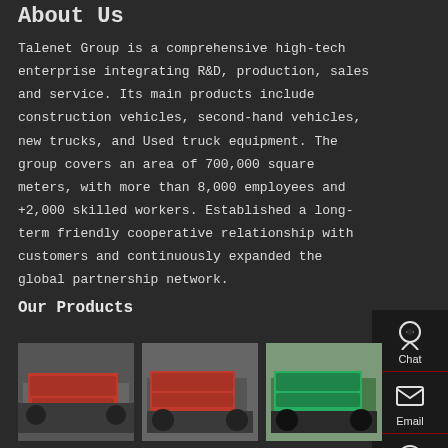About Us
Talenet Group is a comprehensive high-tech enterprise integrating R&D, production, sales and service. Its main products include construction vehicles, second-hand vehicles, new trucks, and Used truck equipment. The group covers an area of 700,000 square meters, with more than 8,000 employees and +2,000 skilled workers. Established a long-term friendly cooperative relationship with customers and continuously expanded the global partnership network.
Our Products
[Figure (photo): Red dump truck parked in vehicle lot]
[Figure (photo): Red dump truck in open area]
[Figure (photo): Green dump truck in outdoor setting]